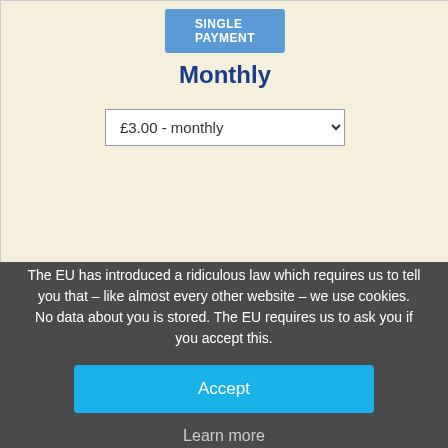SINGLE PAYMENT
Monthly
£3.00 - monthly
SUPPORTER MONTHLY PAYMENT
PLEASE NOTE IF YOU WOULD LIKE TO COMMENT : You can write your comment under any existing comments below. After you have clicked to preview your comment, you MUST then click on the CAPTCHA system and send you comment for it to be published
The EU has introduced a ridiculous law which requires us to tell you that – like almost every other website – we use cookies. No data about you is stored. The EU requires us to ask you if you accept this.
Accept
Learn more